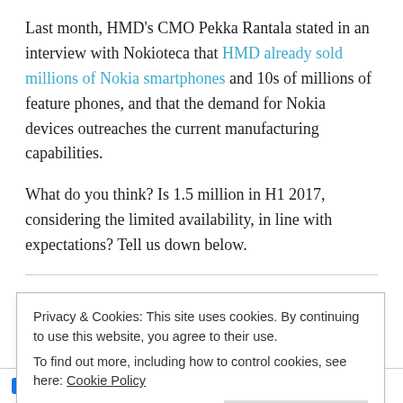Last month, HMD's CMO Pekka Rantala stated in an interview with Nokioteca that HMD already sold millions of Nokia smartphones and 10s of millions of feature phones, and that the demand for Nokia devices outreaches the current manufacturing capabilities.
What do you think? Is 1.5 million in H1 2017, considering the limited availability, in line with expectations? Tell us down below.
Update: More numbers
IDC: In O2 2017. #Nokia smartphones took 0.4%
Privacy & Cookies: This site uses cookies. By continuing to use this website, you agree to their use.
To find out more, including how to control cookies, see here: Cookie Policy